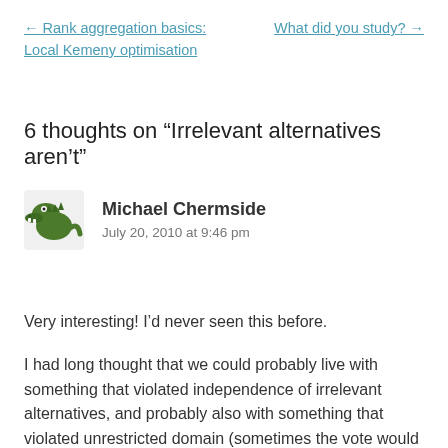← Rank aggregation basics: Local Kemeny optimisation    What did you study? →
6 thoughts on “Irrelevant alternatives aren’t”
[Figure (illustration): Green cartoon crocodile/dragon avatar icon facing right]
Michael Chermside
July 20, 2010 at 9:46 pm
Very interesting! I’d never seen this before.
I had long thought that we could probably live with something that violated independence of irrelevant alternatives, and probably also with something that violated unrestricted domain (sometimes the vote would result in a “can’t decide”. So what? Just re-hold the vote — as long as the “can’t decide”